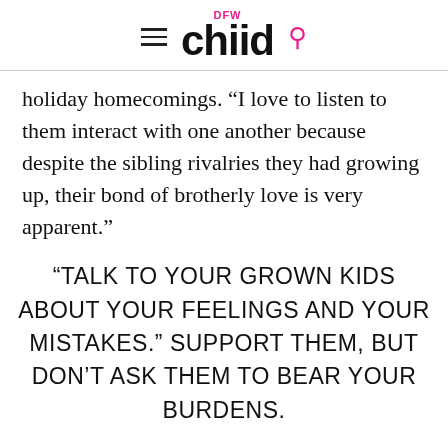DFW Child
holiday homecomings. “I love to listen to them interact with one another because despite the sibling rivalries they had growing up, their bond of brotherly love is very apparent.”
“TALK TO YOUR GROWN KIDS ABOUT YOUR FEELINGS AND YOUR MISTAKES.” SUPPORT THEM, BUT DON’T ASK THEM TO BEAR YOUR BURDENS.